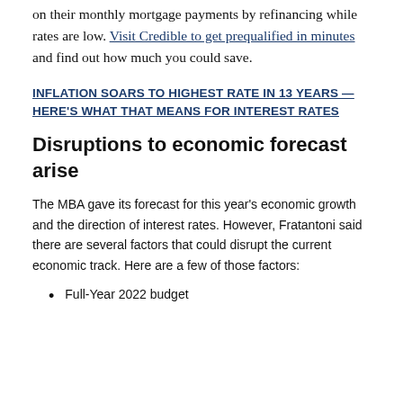on their monthly mortgage payments by refinancing while rates are low. Visit Credible to get prequalified in minutes and find out how much you could save.
INFLATION SOARS TO HIGHEST RATE IN 13 YEARS — HERE'S WHAT THAT MEANS FOR INTEREST RATES
Disruptions to economic forecast arise
The MBA gave its forecast for this year's economic growth and the direction of interest rates. However, Fratantoni said there are several factors that could disrupt the current economic track. Here are a few of those factors:
Full-Year 2022 budget